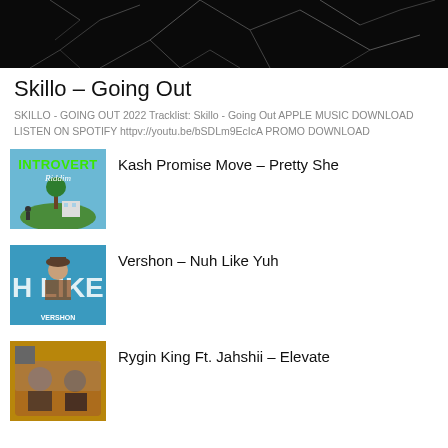[Figure (photo): Hero banner image showing cracked black glass texture]
Skillo – Going Out
SKILLO - GOING OUT 2022 Tracklist: Skillo - Going Out APPLE MUSIC DOWNLOAD LISTEN ON SPOTIFY httpv://youtu.be/bSDLm9EcIcA PROMO DOWNLOAD
[Figure (photo): Album art for Introvert Riddim – green text on blue sky, floating island with tree and building]
Kash Promise Move – Pretty She
[Figure (photo): Album art for Vershon – Nuh Like Yuh, blue background with artist wearing hat]
Vershon – Nuh Like Yuh
[Figure (photo): Album art for Rygin King Ft. Jahshii – Elevate]
Rygin King Ft. Jahshii – Elevate